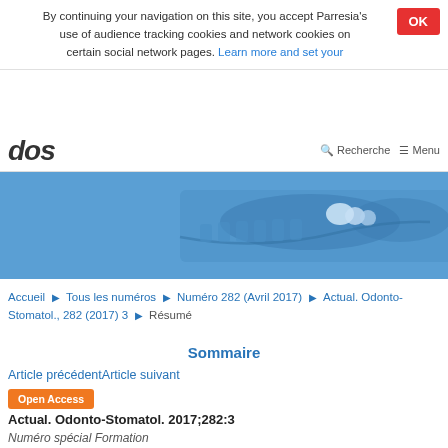By continuing your navigation on this site, you accept Parresia's use of audience tracking cookies and network cookies on certain social network pages. Learn more and set your
[Figure (screenshot): AOS website header with logo and navigation (Recherche, Menu)]
[Figure (photo): Blue-toned dental X-ray panoramic image used as hero banner]
Accueil ▶ Tous les numéros ▶ Numéro 282 (Avril 2017) ▶ Actual. Odonto-Stomatol., 282 (2017) 3 ▶ Résumé
Sommaire
Article précédentArticle suivant
Open Access
Actual. Odonto-Stomatol. 2017;282:3
Numéro spécial Formation